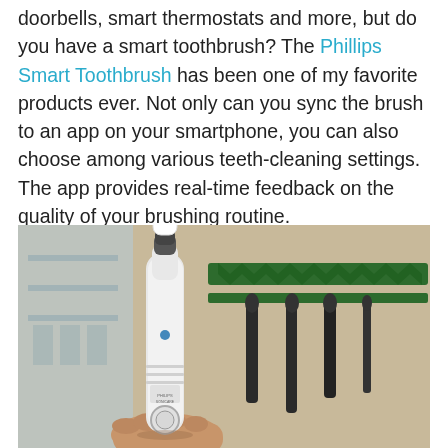doorbells, smart thermostats and more, but do you have a smart toothbrush? The Phillips Smart Toothbrush has been one of my favorite products ever. Not only can you sync the brush to an app on your smartphone, you can also choose among various teeth-cleaning settings. The app provides real-time feedback on the quality of your brushing routine.
[Figure (photo): A hand holding a white Philips Sonicare smart electric toothbrush with a blue brush head, photographed in a bathroom setting. In the background, kitchen utensils hang on a green decorative rack mounted on a beige wall.]